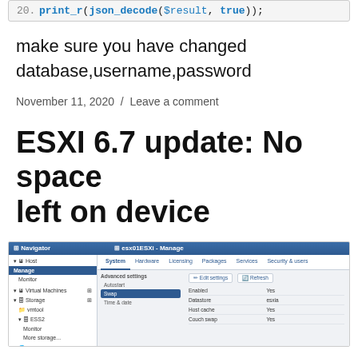[Figure (screenshot): Code snippet line 20: print_r(json_decode($result, true));]
make sure you have changed database,username,password
November 11, 2020  /  Leave a comment
ESXI 6.7 update: No space left on device
[Figure (screenshot): ESXi 6.7 web client screenshot showing Manage > System > Swap settings panel with Advanced settings, Autostart, Swap (selected), Time & date options. Right panel shows Enabled: Yes, Database: esxia, Host cache: Yes, Couch swap: Yes.]